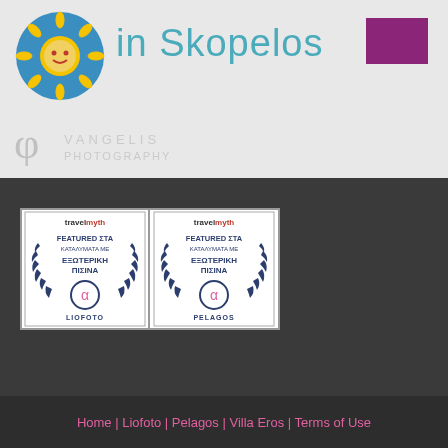[Figure (logo): Sun logo circle with blue background and yellow sun rays, and 'in Skopelos' site title text in teal color with purple rectangle in top right corner. Below is a Phi symbol watermark with 'VANGELIS PHOTOGRAPHY' text.]
[Figure (infographic): Two Travelmyth badges side by side on dark background. Each badge features a laurel wreath with text 'FEATURED ΣΤΑ ΚΑΤΑΛΥΜΑΤΑ ΜΕ ΕΞΩΤΕΡΙΚΗ ΠΙΣΙΝΑ' and a circular icon. Left badge is for LIOFOTO, right badge is for PELAGOS.]
Home | Liofoto | Pelagos | Villa Eros | Terms of Use